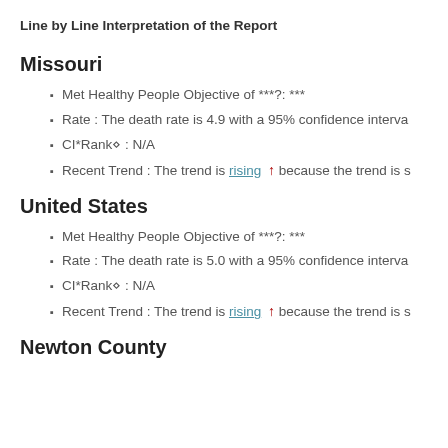Line by Line Interpretation of the Report
Missouri
Met Healthy People Objective of ***?: ***
Rate : The death rate is 4.9 with a 95% confidence interva
CI*Rank⋄ : N/A
Recent Trend : The trend is rising ↑ because the trend is s
United States
Met Healthy People Objective of ***?: ***
Rate : The death rate is 5.0 with a 95% confidence interva
CI*Rank⋄ : N/A
Recent Trend : The trend is rising ↑ because the trend is s
Newton County